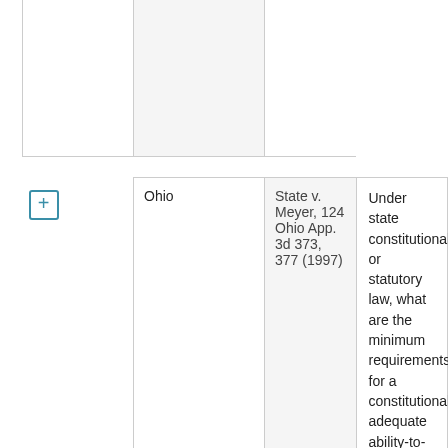|  | State | Citation | Question |
| --- | --- | --- | --- |
|  |  |  |  |
|  | Ohio | State v. Meyer, 124 Ohio App. 3d 373, 377 (1997) | Under state constitutional or statutory law, what are the minimum requirements for a constitutionally adequate ability-to-pay determination? Include any guidance about the substantive standards to apply, the burden of proof |